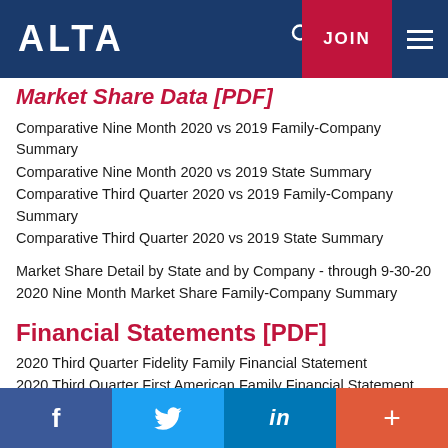ALTA | JOIN
Market Share Data [PDF]
Comparative Nine Month 2020 vs 2019 Family-Company Summary
Comparative Nine Month 2020 vs 2019 State Summary
Comparative Third Quarter 2020 vs 2019 Family-Company Summary
Comparative Third Quarter 2020 vs 2019 State Summary
Market Share Detail by State and by Company - through 9-30-20
2020 Nine Month Market Share Family-Company Summary
Financial Statements [PDF]
2020 Third Quarter Fidelity Family Financial Statement
2020 Third Quarter First American Family Financial Statement
2020 Third Quarter Old Republic Family Financial Statement
f  Twitter  in  +